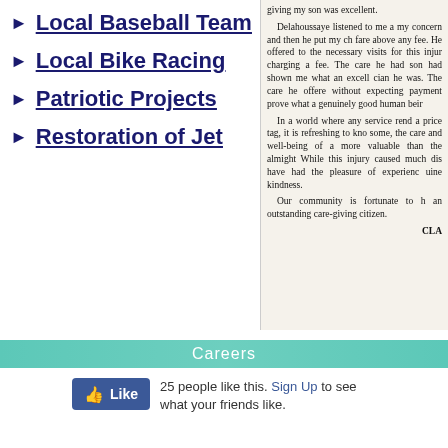Local Baseball Team
Local Bike Racing
Patriotic Projects
Restoration of Jet
giving my son was excellent. Delahoussaye listened to me a my concern and then he put my ch fare above any fee. He offered to the necessary visits for this injur charging a fee. The care he had son had shown me what an excell cian he was. The care he offere without expecting payment prove what a genuinely good human beir In a world where any service rend a price tag, it is refreshing to kno some, the care and well-being of a more valuable than the almight While this injury caused much dis have had the pleasure of experienc uine kindness. Our community is fortunate to h an outstanding care-giving citizen. CLA
Careers
25 people like this. Sign Up to see what your friends like.